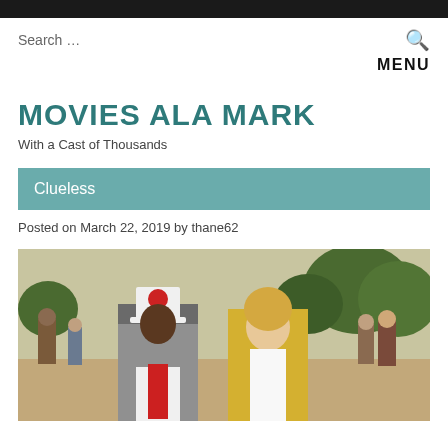Search ...
MENU
MOVIES ALA MARK
With a Cast of Thousands
Clueless
Posted on March 22, 2019 by thane62
[Figure (photo): Scene from the movie Clueless showing two young women walking on what appears to be a school campus. One woman wears a white cylinder hat with a flower and plaid jacket, the other wears a yellow plaid blazer. Background shows other students and trees.]